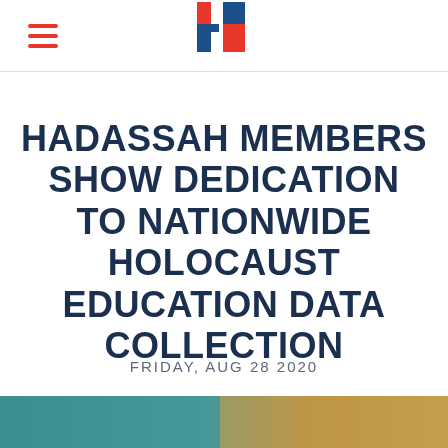Hadassah navigation header with logo
HADASSAH MEMBERS SHOW DEDICATION TO NATIONWIDE HOLOCAUST EDUCATION DATA COLLECTION
FRIDAY, AUG 28 2020
[Figure (photo): Partial photo strip visible at bottom of page]